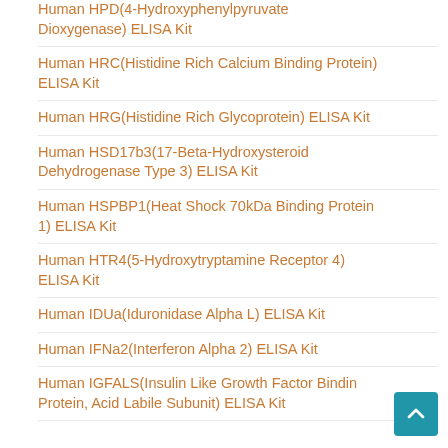Human HPD(4-Hydroxyphenylpyruvate Dioxygenase) ELISA Kit
Human HRC(Histidine Rich Calcium Binding Protein) ELISA Kit
Human HRG(Histidine Rich Glycoprotein) ELISA Kit
Human HSD17b3(17-Beta-Hydroxysteroid Dehydrogenase Type 3) ELISA Kit
Human HSPBP1(Heat Shock 70kDa Binding Protein 1) ELISA Kit
Human HTR4(5-Hydroxytryptamine Receptor 4) ELISA Kit
Human IDUa(Iduronidase Alpha L) ELISA Kit
Human IFNa2(Interferon Alpha 2) ELISA Kit
Human IGFALS(Insulin Like Growth Factor Binding Protein, Acid Labile Subunit) ELISA Kit